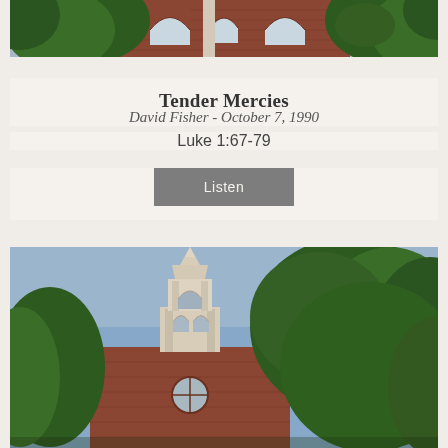[Figure (photo): Top portion of a red brick church building with arched windows and surrounding green trees, partially cropped at top]
Tender Mercies
David Fisher - October 7, 1990
Luke 1:67-79
Listen
[Figure (photo): A white church steeple rising above red brick church walls, with large green trees in the background against a blue sky]